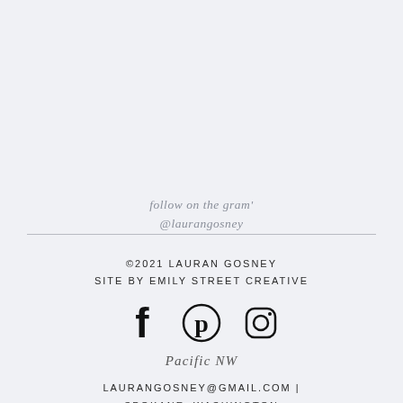follow on the gram'
@laurangosney
©2021 LAURAN GOSNEY
SITE BY EMILY STREET CREATIVE
[Figure (illustration): Three social media icons: Facebook (f), Pinterest (p), Instagram (camera)]
Pacific NW
LAURANGOSNEY@GMAIL.COM | SPOKANE, WASHINGTON